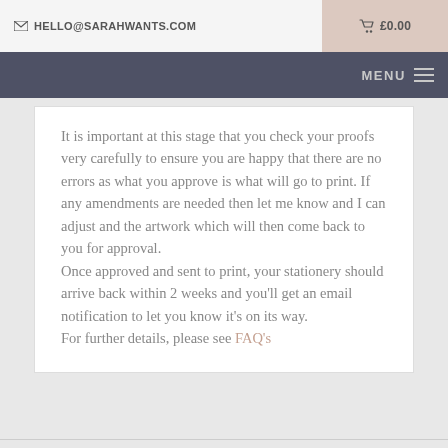✉ HELLO@SARAHWANTS.COM   🛒 £0.00
MENU ≡
It is important at this stage that you check your proofs very carefully to ensure you are happy that there are no errors as what you approve is what will go to print. If any amendments are needed then let me know and I can adjust and the artwork which will then come back to you for approval.
Once approved and sent to print, your stationery should arrive back within 2 weeks and you'll get an email notification to let you know it's on its way.
For further details, please see FAQ's